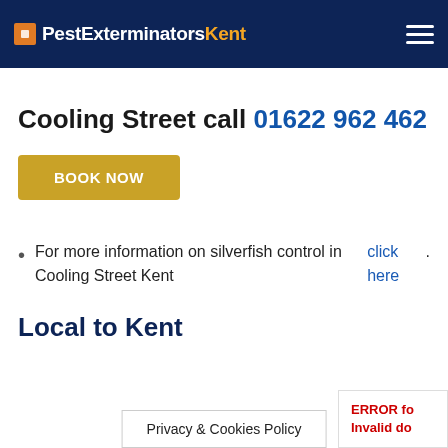PestExterminatorsKent
Cooling Street call 01622 962 462
[Figure (other): BOOK NOW button (gold/yellow background)]
For more information on silverfish control in Cooling Street Kent click here.
Local to Kent
Privacy & Cookies Policy
ERROR fo
Invalid do